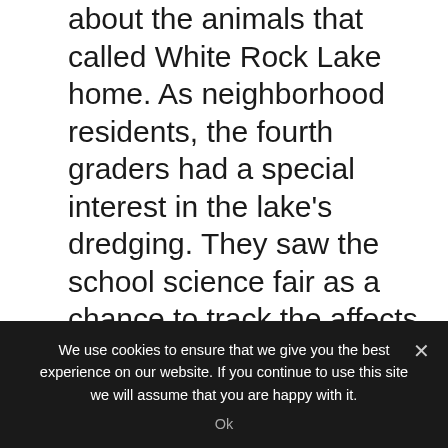Garrett Lutherans and Joey DeCosta wondered about the animals that called White Rock Lake home. As neighborhood residents, the fourth graders had a special interest in the lake's dredging. They saw the school science fair as a chance to track the affects of the dredging on the lake's marine life.
Garrett and Joey began the project over a year ago, just before the dredging began. At the time, they both attended fourth grade at Wallace Elementary. Because the dredging wasn't scheduled to be completed in time for the science fair, the boys originally compared
We use cookies to ensure that we give you the best experience on our website. If you continue to use this site we will assume that you are happy with it.
Ok